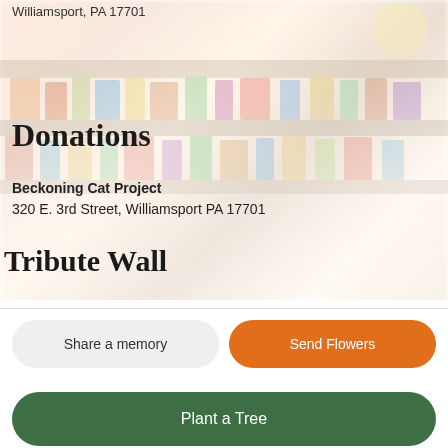Williamsport, PA 17701
Donations
Beckoning Cat Project
320 E. 3rd Street, Williamsport PA 17701
Tribute Wall
Share a memory
Send Flowers
Plant a Tree